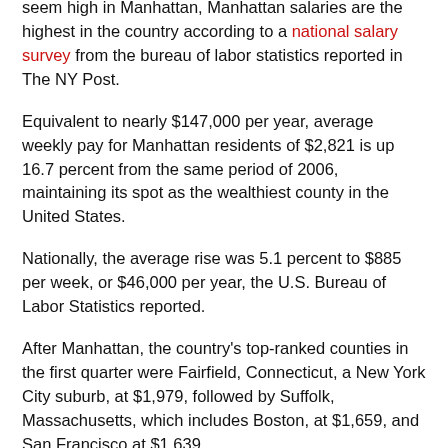seem high in Manhattan, Manhattan salaries are the highest in the country according to a national salary survey from the bureau of labor statistics reported in The NY Post.
Equivalent to nearly $147,000 per year, average weekly pay for Manhattan residents of $2,821 is up 16.7 percent from the same period of 2006, maintaining its spot as the wealthiest county in the United States.
Nationally, the average rise was 5.1 percent to $885 per week, or $46,000 per year, the U.S. Bureau of Labor Statistics reported.
After Manhattan, the country's top-ranked counties in the first quarter were Fairfield, Connecticut, a New York City suburb, at $1,979, followed by Suffolk, Massachusetts, which includes Boston, at $1,659, and San Francisco at $1,639.
Four of the 10 counties with the highest average wages were in the New York area, while three others were in and around San